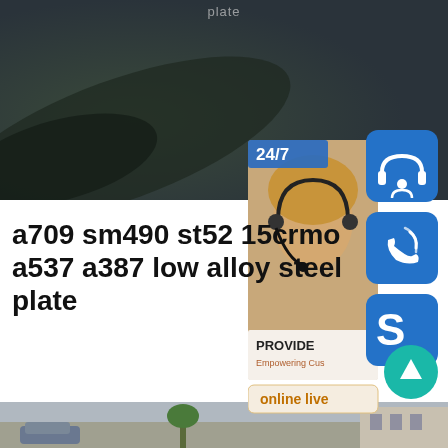plate
[Figure (photo): Dark blurred background photo at top of page, appears to show a dark surface or industrial material]
[Figure (infographic): Right-side customer service panel showing: 24/7 text, headset icon button, phone/call icon button, Skype icon button, woman with headset photo, PROVIDE text, Empowering Customers text, online live button]
a709 sm490 st52 15crmo a537 a387 low alloy steel plate
[Figure (photo): Bottom strip photo showing a street scene with cars and buildings]